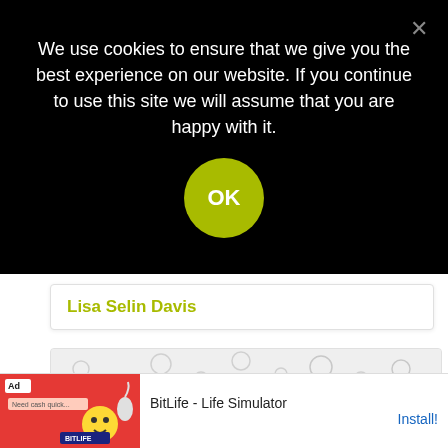We use cookies to ensure that we give you the best experience on our website. If you continue to use this site we will assume that you are happy with it.
OK
Lisa Selin Davis
[Figure (illustration): Light gray card with decorative pattern of circular and geometric shapes in a faded dot/bubble pattern, with a partial Keto/Az branded logo visible in lower right.]
[Figure (screenshot): Ad banner for BitLife - Life Simulator app showing red background with game character graphics, 'Ad' label, and Install button.]